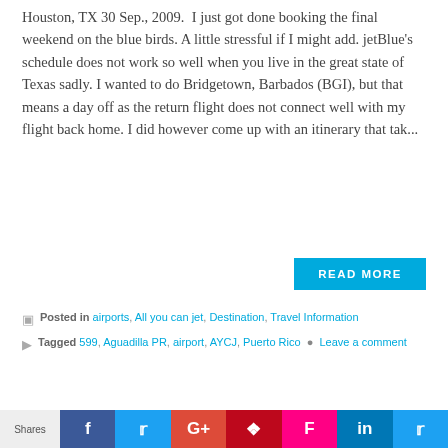Houston, TX 30 Sep., 2009. I just got done booking the final weekend on the blue birds. A little stressful if I might add. jetBlue's schedule does not work so well when you live in the great state of Texas sadly. I wanted to do Bridgetown, Barbados (BGI), but that means a day off as the return flight does not connect well with my flight back home. I did however come up with an itinerary that tak...
READ MORE
Posted in airports, All you can jet, Destination, Travel Information
Tagged 599, Aguadilla PR, airport, AYCJ, Puerto Rico — Leave a comment
ALL YOU CAN JET – THE NEXT WEEKEND'S ROUTING IS BOOKED